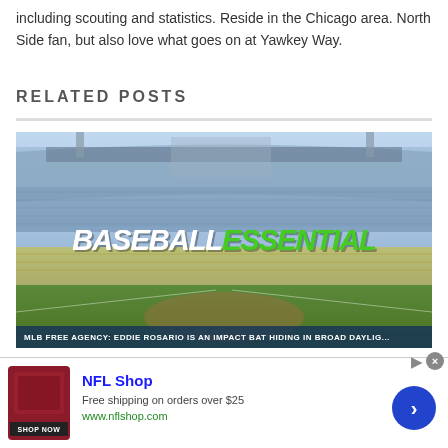including scouting and statistics. Reside in the Chicago area. North Side fan, but also love what goes on at Yawkey Way.
RELATED POSTS
[Figure (photo): Baseball stadium photo with Baseball Essential logo overlay and caption bar reading 'MLB FREE AGENCY: EDDIE ROSARIO IS AN IMPACT BAT HIDING IN BROAD DAYLIGHT']
[Figure (other): NFL Shop advertisement banner: image of red clothing item, text 'NFL Shop', 'Free shipping on orders over $25', 'www.nflshop.com', SHOP NOW button, blue arrow circle button]